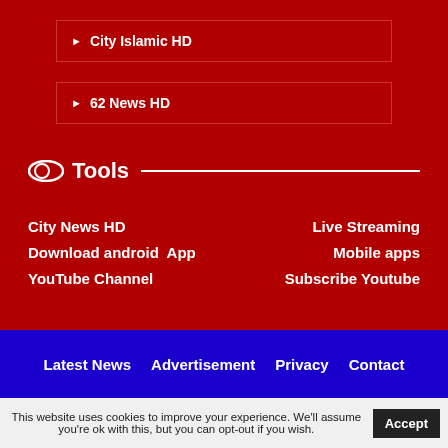City Islamic HD
62 News HD
Tools
City News HD
Download android App
YouTube Channel
Live Streaming
Mobile apps
Subscribe Youtube
Latest News Advertisement Privacy Contact
This website uses cookies to improve your experience. We'll assume you're ok with this, but you can opt-out if you wish. Accept Read More